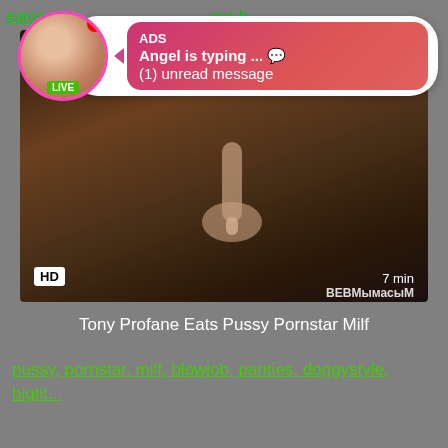europea... ary, b...
[Figure (screenshot): Video thumbnail showing a dark scene with HD badge and 7 min duration, with an ad overlay popup featuring a live avatar, ADS label, 'Angel is typing ... (1) unread message']
Tony Profane Eats Pussy Pornstar Milf
pussy, pornstar, milf, blowjob, panties, doggystyle, bigtit...